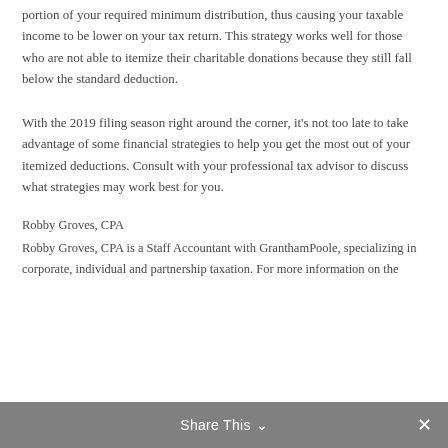portion of your required minimum distribution, thus causing your taxable income to be lower on your tax return. This strategy works well for those who are not able to itemize their charitable donations because they still fall below the standard deduction.
With the 2019 filing season right around the corner, it's not too late to take advantage of some financial strategies to help you get the most out of your itemized deductions. Consult with your professional tax advisor to discuss what strategies may work best for you.
Robby Groves, CPA
Robby Groves, CPA is a Staff Accountant with GranthamPoole, specializing in corporate, individual and partnership taxation. For more information on the
Share This